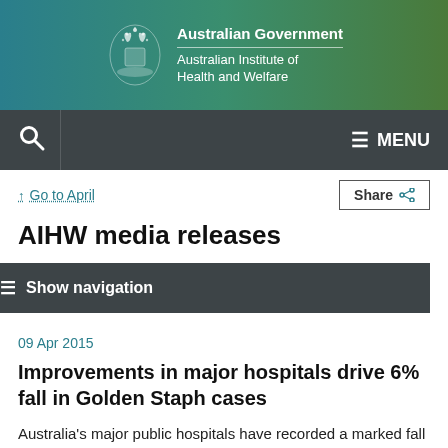[Figure (logo): Australian Government Australian Institute of Health and Welfare logo with crest on teal-to-green gradient banner]
Australian Government Australian Institute of Health and Welfare
Search | MENU
↑ Go to April
Share
AIHW media releases
≡ Show navigation
09 Apr 2015
Improvements in major hospitals drive 6% fall in Golden Staph cases
Australia's major public hospitals have recorded a marked fall in